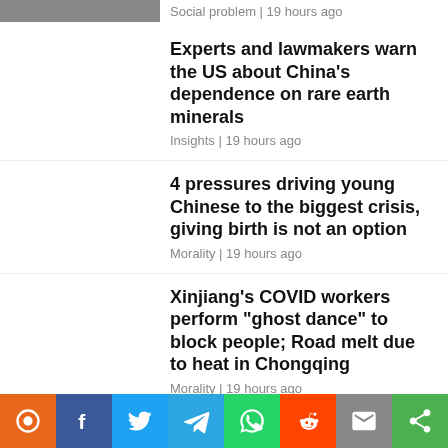[Figure (photo): Partial photo visible at top left corner]
Social problem | 19 hours ago
Experts and lawmakers warn the US about China’s dependence on rare earth minerals
Insights | 19 hours ago
4 pressures driving young Chinese to the biggest crisis, giving birth is not an option
Morality | 19 hours ago
Xinjiang’s COVID workers perform “ghost dance” to block people; Road melt due to heat in Chongqing
Morality | 19 hours ago
Chinese people protest harsh Covid measures, ‘Nucleic acid
[Figure (infographic): Social sharing bar with icons: pin, facebook, twitter, telegram, whatsapp, reddit, email, share]